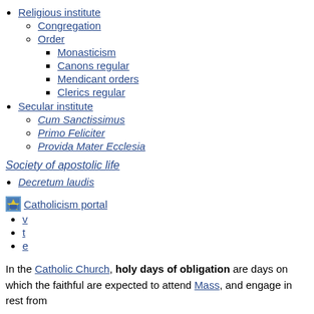Religious institute
Congregation
Order
Monasticism
Canons regular
Mendicant orders
Clerics regular
Secular institute
Cum Sanctissimus
Primo Feliciter
Provida Mater Ecclesia
Society of apostolic life
Decretum laudis
[Figure (photo): Small thumbnail image representing Catholicism portal]
Catholicism portal
v
t
e
In the Catholic Church, holy days of obligation are days on which the faithful are expected to attend Mass, and engage in rest from